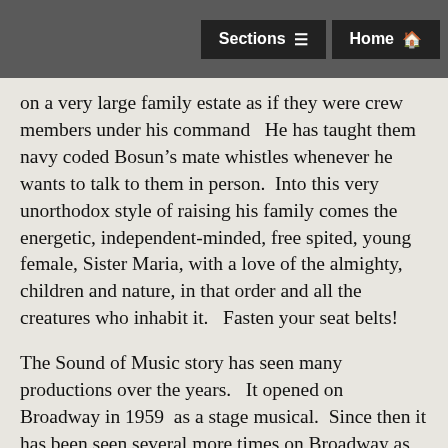Sections   Home
on a very large family estate as if they were crew members under his command   He has taught them navy coded Bosun’s mate whistles whenever he wants to talk to them in person.  Into this very unorthodox style of raising his family comes the energetic, independent-minded, free spited, young female, Sister Maria, with a love of the almighty, children and nature, in that order and all the creatures who inhabit it.   Fasten your seat belts!

The Sound of Music story has seen many productions over the years.   It opened on Broadway in 1959  as a stage musical.  Since then it has been seen several more times on Broadway as stage revivals.   When the 1965 movie was released, it became the highest grossing film for five straight years in film